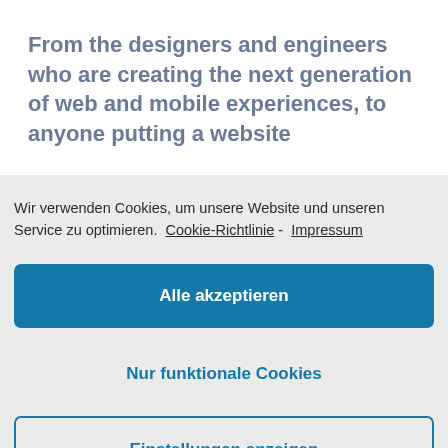From the designers and engineers who are creating the next generation of web and mobile experiences, to anyone putting a website
Wir verwenden Cookies, um unsere Website und unseren Service zu optimieren.  Cookie-Richtlinie - Impressum
Alle akzeptieren
Nur funktionale Cookies
Einstellungen anzeigen
Digital technology has made our world more